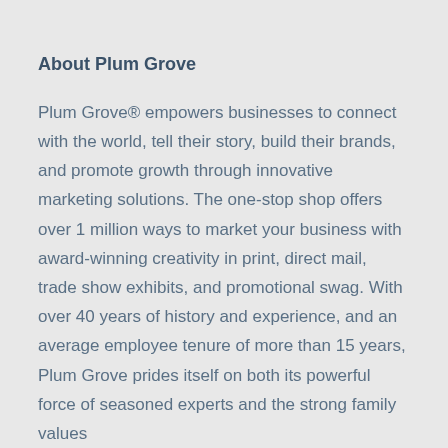About Plum Grove
Plum Grove® empowers businesses to connect with the world, tell their story, build their brands, and promote growth through innovative marketing solutions. The one-stop shop offers over 1 million ways to market your business with award-winning creativity in print, direct mail, trade show exhibits, and promotional swag. With over 40 years of history and experience, and an average employee tenure of more than 15 years, Plum Grove prides itself on both its powerful force of seasoned experts and the strong family values